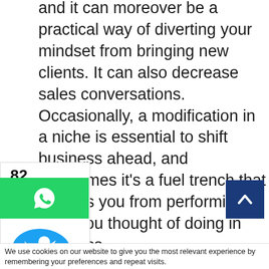and it can moreover be a practical way of diverting your mindset from bringing new clients. It can also decrease sales conversations. Occasionally, a modification in a niche is essential to shift business ahead, and sometimes it’s a fuel trench that deflects you from performing what you thought of doing in business.
[Figure (infographic): Social share sidebar showing 82 shares, Facebook icon, Twitter bird icon]
[Figure (logo): WhatsApp green share button]
ot Using Online Marketing
[Figure (other): Scroll-to-top button, dark blue square with upward chevron]
The early days of establishing and assembling a coaching business were
We use cookies on our website to give you the most relevant experience by remembering your preferences and repeat visits.